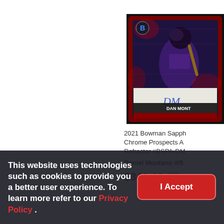[Figure (photo): 2021 Bowman Sapphire Chrome Prospects Autograph Refractor baseball trading card featuring Daniel Montano, with a red/black border and blue signature, partially cropped on the right side]
2021 Bowman Sapph Chrome Prospects A Refractor #BSPA-DM
Daniel Montano #/5
$341.10
This website uses technologies such as cookies to provide you a better user experience. To learn more refer to our Privacy Policy .